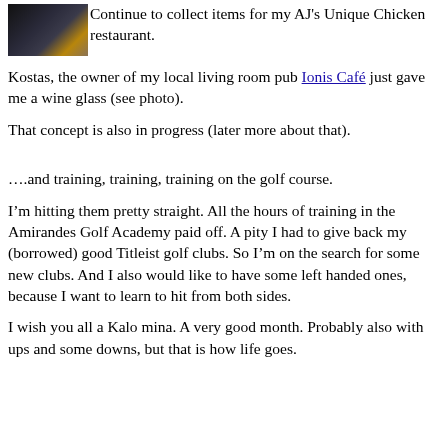[Figure (photo): A dark photograph showing what appears to be a person near wooden furniture or a bar setting.]
Continue to collect items for my AJ's Unique Chicken restaurant.
Kostas, the owner of my local living room pub Ionis Café just gave me a wine glass (see photo).
That concept is also in progress (later more about that).
….and training, training, training on the golf course.
I'm hitting them pretty straight. All the hours of training in the Amirandes Golf Academy paid off. A pity I had to give back my (borrowed) good Titleist golf clubs. So I'm on the search for some new clubs. And I also would like to have some left handed ones, because I want to learn to hit from both sides.
I wish you all a Kalo mina. A very good month. Probably also with ups and some downs, but that is how life goes.